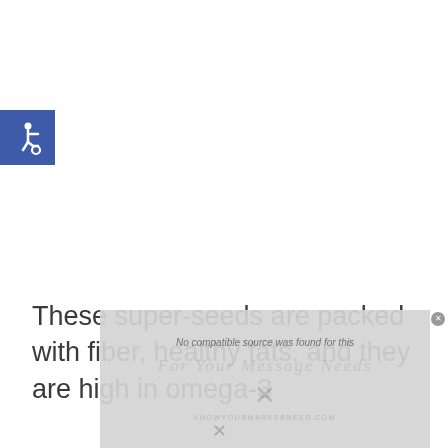[Figure (logo): Blue square containing a white wheelchair accessibility icon]
These super-seeds are packed with fiber, healthy fats, and they are high in omega-3
[Figure (screenshot): Video player overlay with 'No compatible source was found for this' message, watermark text 'For Your Message Needs', an X close button, and a URL at the bottom. Gray overlay panel with no playable video source.]